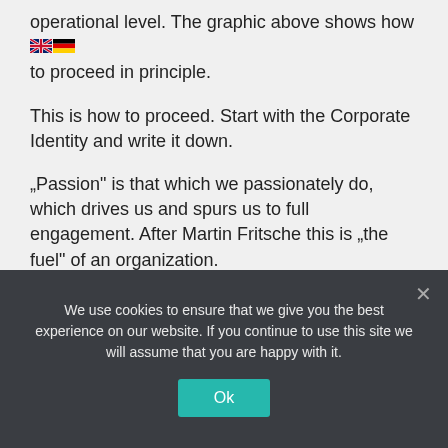operational level. The graphic above shows how to proceed in principle.
This is how to proceed. Start with the Corporate Identity and write it down.
„Passion“ is that which we passionately do, which drives us and spurs us to full engagement. After Martin Fritsche this is „the fuel“ of an organization.
Your „Vision“ in the business campaigning concept, is the image of an ideal future that we
We use cookies to ensure that we give you the best experience on our website. If you continue to use this site we will assume that you are happy with it. Ok